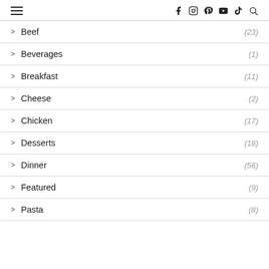≡  f  ⓘ  ⓟ  ▶  ♪  🔍
> Beef (23)
> Beverages (1)
> Breakfast (11)
> Cheese (2)
> Chicken (17)
> Desserts (18)
> Dinner (56)
> Featured (9)
> Pasta (8)